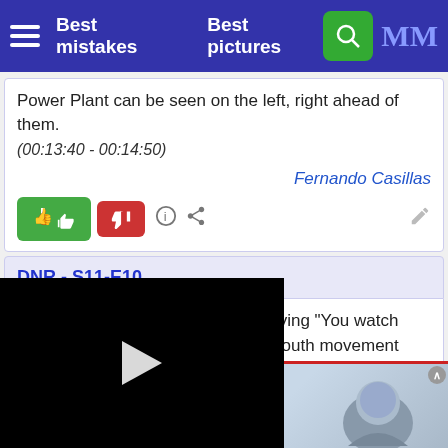Best mistakes   Best pictures
Power Plant can be seen on the left, right ahead of them.
(00:13:40 - 00:14:50)
Fernando Casillas
DNR - S11-E10
Audio problem: When Frank is saying "You watch your mouth, fat guy!" to Wen, his mouth movement doesn't match the words "fat guy." It looks more like he says "You
:38)
Phaneron
[Figure (screenshot): Video player with black screen and play button overlay]
[Figure (photo): Advertisement image with person's face visible at bottom right]